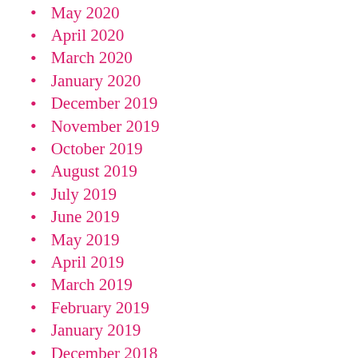May 2020
April 2020
March 2020
January 2020
December 2019
November 2019
October 2019
August 2019
July 2019
June 2019
May 2019
April 2019
March 2019
February 2019
January 2019
December 2018
October 2018